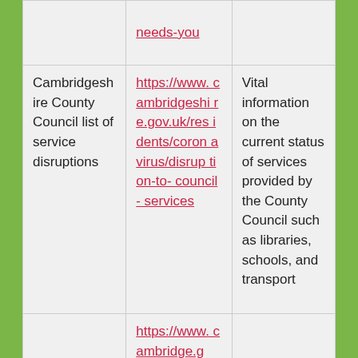|  | needs-you |  |
| Cambridgeshire County Council list of service disruptions | https://www.cambridgeshire.gov.uk/residents/coronavirus/disruption-to-council-services | Vital information on the current status of services provided by the County Council such as libraries, schools, and transport |
|  | https://www.cambridge.g |  |